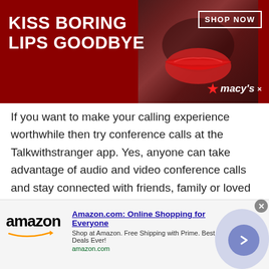[Figure (photo): Macy's advertisement banner: dark red background with 'KISS BORING LIPS GOODBYE' in white bold text, a woman's face with red lips in the center, 'SHOP NOW' button in top right, and Macy's star logo with text at bottom right.]
If you want to make your calling experience worthwhile then try conference calls at the Talkwithstranger app. Yes, anyone can take advantage of audio and video conference calls and stay connected with friends, family or loved ones. When it comes to its accessibility, you can make conference calls on any device. No matter which device you are using, you can easily access conference calls, connect to your friends and make your day enjoyable.
[Figure (screenshot): Amazon advertisement: Amazon logo with arrow on left, 'Amazon.com: Online Shopping for Everyone' in blue bold text, 'Shop at Amazon. Free Shipping with Prime. Best Deals Ever!' subtitle, amazon.com URL in green, circular arrow button on right.]